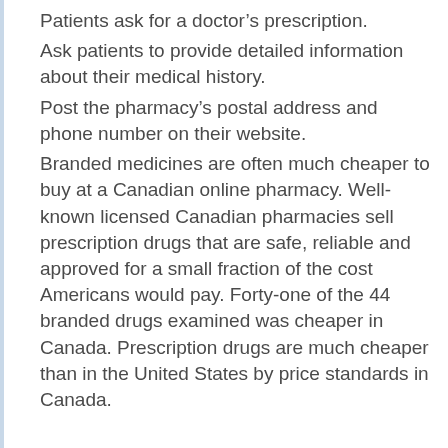Patients ask for a doctor's prescription.
Ask patients to provide detailed information about their medical history.
Post the pharmacy's postal address and phone number on their website.
Branded medicines are often much cheaper to buy at a Canadian online pharmacy. Well-known licensed Canadian pharmacies sell prescription drugs that are safe, reliable and approved for a small fraction of the cost Americans would pay. Forty-one of the 44 branded drugs examined was cheaper in Canada. Prescription drugs are much cheaper than in the United States by price standards in Canada.